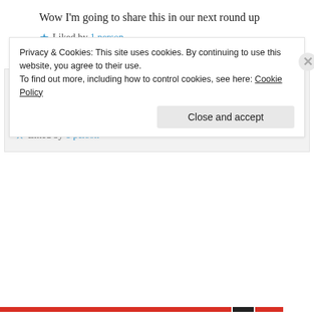Wow I'm going to share this in our next round up
★ Liked by 1 person
↳ Reply
ApoloJedi on January 22, 2019 at 12:18 pm
Thank you!
★ Liked by 1 person
Privacy & Cookies: This site uses cookies. By continuing to use this website, you agree to their use. To find out more, including how to control cookies, see here: Cookie Policy
Close and accept